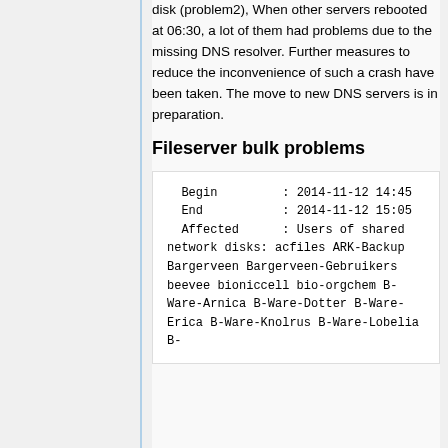disk (problem2), When other servers rebooted at 06:30, a lot of them had problems due to the missing DNS resolver. Further measures to reduce the inconvenience of such a crash have been taken. The move to new DNS servers is in preparation.
Fileserver bulk problems
Begin         : 2014-11-12 14:45
  End           : 2014-11-12 15:05
  Affected      : Users of shared network disks: acfiles ARK-Backup Bargerveen Bargerveen-Gebruikers beevee bioniccell bio-orgchem B-Ware-Arnica B-Ware-Dotter B-Ware-Erica B-Ware-Knolrus B-Ware-Lobelia B-